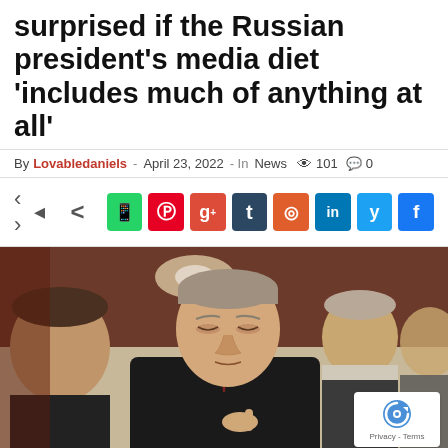surprised if the Russian president's media diet 'includes much of anything at all'
By Lovabledaniels - April 23, 2022 - In News 👁 101 💬 0
[Figure (infographic): Social share bar with icons: WhatsApp, Pinterest, Google+, Tumblr, Reddit, LinkedIn, Twitter, Facebook]
[Figure (photo): Photo of Vladimir Putin looking downward in a dark suit, surrounded by other people in the background]